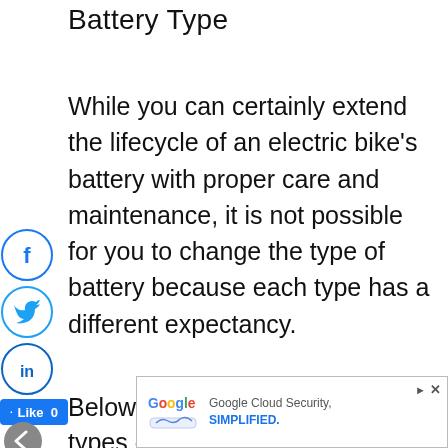Battery Type
While you can certainly extend the lifecycle of an electric bike's battery with proper care and maintenance, it is not possible for you to change the type of battery because each type has a different expectancy.
[Figure (infographic): Social media share buttons: Facebook (f), Twitter (bird icon), LinkedIn (in), and a Facebook Like button showing 0 likes. A grey back-arrow circle button below.]
Below are the most common types of
[Figure (infographic): Google advertisement banner: Google Cloud Security, SIMPLIFIED.]